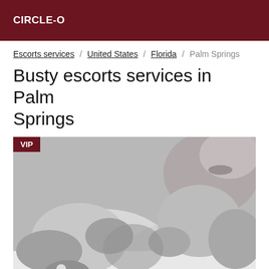CIRCLE-O
Escorts services / United States / Florida / Palm Springs
Busty escorts services in Palm Springs
[Figure (photo): Black and white close-up photo of a person in a bubble bath, with a VIP badge overlay in the top-left corner.]